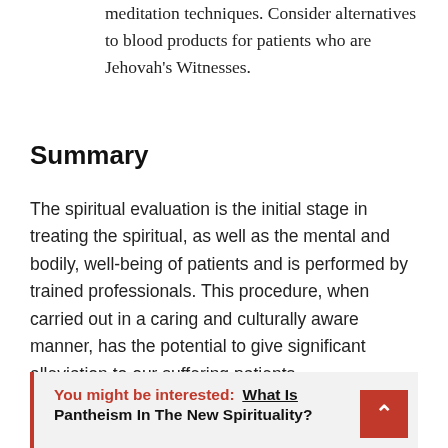meditation techniques. Consider alternatives to blood products for patients who are Jehovah's Witnesses.
Summary
The spiritual evaluation is the initial stage in treating the spiritual, as well as the mental and bodily, well-being of patients and is performed by trained professionals. This procedure, when carried out in a caring and culturally aware manner, has the potential to give significant alleviation to our suffering patients.
You might be interested:  What Is Pantheism In The New Spirituality?